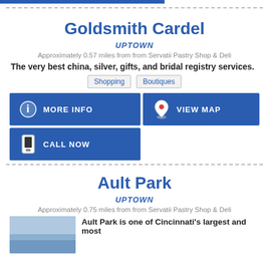Goldsmith Cardel
UPTOWN
Approximately 0.57 miles from from Servatii Pastry Shop & Deli
The very best china, silver, gifts, and bridal registry services.
Shopping
Boutiques
MORE INFO
VIEW MAP
CALL NOW
Ault Park
UPTOWN
Approximately 0.75 miles from from Servatii Pastry Shop & Deli
Ault Park is one of Cincinnati's largest and most